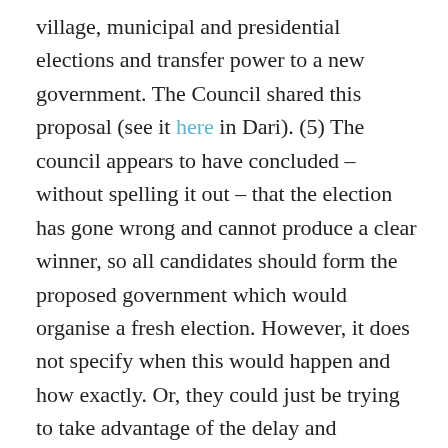village, municipal and presidential elections and transfer power to a new government. The Council shared this proposal (see it here in Dari). (5) The council appears to have concluded – without spelling it out – that the election has gone wrong and cannot produce a clear winner, so all candidates should form the proposed government which would organise a fresh election. However, it does not specify when this would happen and how exactly. Or, they could just be trying to take advantage of the delay and confusion by making claims for posts for themselves of supporters in any new administration.